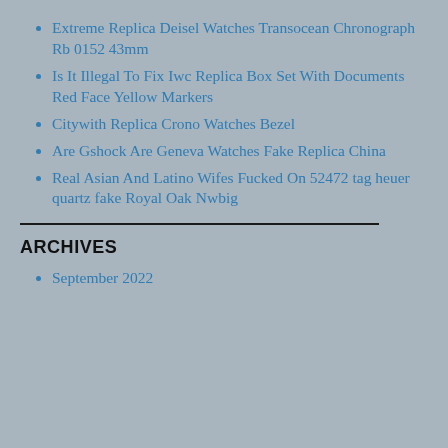Extreme Replica Deisel Watches Transocean Chronograph Rb 0152 43mm
Is It Illegal To Fix Iwc Replica Box Set With Documents Red Face Yellow Markers
Citywith Replica Crono Watches Bezel
Are Gshock Are Geneva Watches Fake Replica China
Real Asian And Latino Wifes Fucked On 52472 tag heuer quartz fake Royal Oak Nwbig
ARCHIVES
September 2022